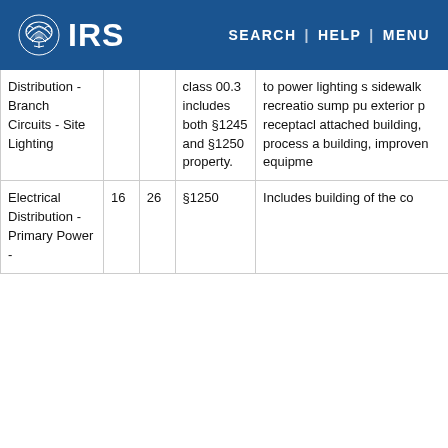IRS | SEARCH | HELP | MENU
| Distribution - Branch Circuits - Site Lighting |  |  | class 00.3 includes both §1245 and §1250 property. | to power lighting s sidewalk recreatio sump pu exterior p receptacl attached building, process a building, improven equipme |
| Electrical Distribution - Primary Power - | 16 | 26 | §1250 | Includes building of the co |